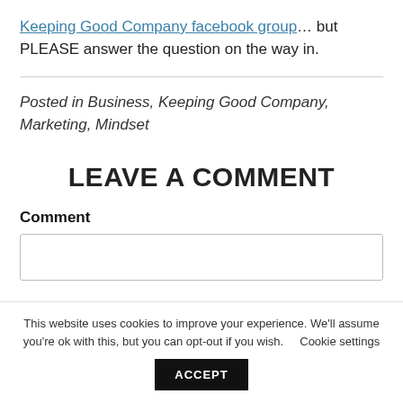Keeping Good Company facebook group… but PLEASE answer the question on the way in.
Posted in Business, Keeping Good Company, Marketing, Mindset
LEAVE A COMMENT
Comment
This website uses cookies to improve your experience. We'll assume you're ok with this, but you can opt-out if you wish.   Cookie settings   ACCEPT